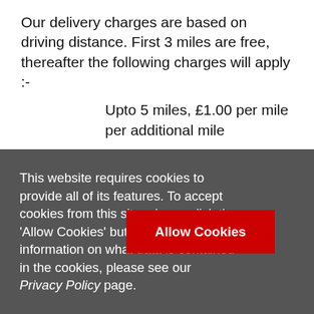Our delivery charges are based on driving distance. First 3 miles are free, thereafter the following charges will apply :-
Upto 5 miles, £1.00 per mile per additional mile
Above 5 miles £1.50 per additional mile
This website requires cookies to provide all of its features. To accept cookies from this site, please click the 'Allow Cookies' button. For more information on what data is contained in the cookies, please see our Privacy Policy page.